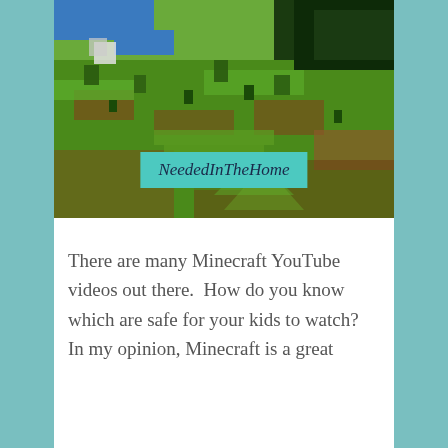[Figure (screenshot): Aerial view of a Minecraft landscape with green hills, dirt blocks, trees, and a blue river/water in the upper area. A teal watermark banner reads 'NeededInTheHome' in cursive script overlaid on the lower portion of the image.]
There are many Minecraft YouTube videos out there.  How do you know which are safe for your kids to watch?  In my opinion, Minecraft is a great